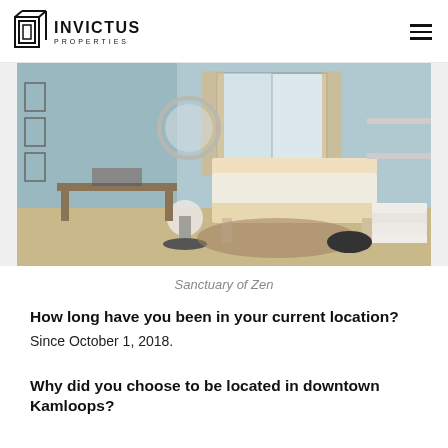INVICTUS PROPERTIES
[Figure (photo): Interior of a spa or wellness treatment room (Sanctuary of Zen) showing a massage/treatment table covered with white and tan linens, a small round stool, a desk with a laptop, shelves with products, a ring light, and folded towels on a shelving unit. The room has light blue-grey walls and a window with curtains.]
Sanctuary of Zen
How long have you been in your current location?
Since October 1, 2018.
Why did you choose to be located in downtown Kamloops?